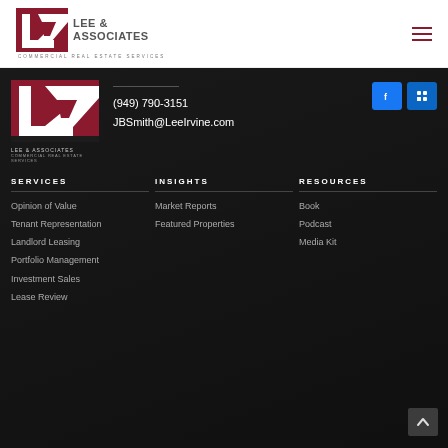[Figure (logo): Lee & Associates Commercial Real Estate Services logo with red stylized LA monogram]
Lee & Associates Commercial Real Estate Services
(949) 790-3151
JBSmith@LeeIrvine.com
SERVICES
INSIGHTS
RESOURCES
Opinion of Value
Tenant Representation
Landlord Leasing
Portfolio Management
Investment Sales
Lease Review
Market Reports
Featured Properties
Book
Podcast
Media Kit